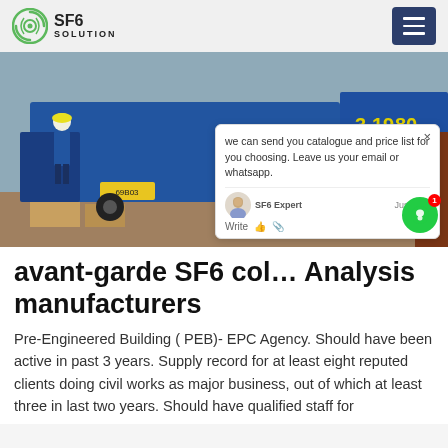SF6 SOLUTION
[Figure (photo): Industrial scene with blue freight trucks/containers being loaded or unloaded by a worker in hard hat and blue overalls; yellow license plate visible on vehicle; various crates and equipment visible.]
avant-garde SF6 col… Analysis manufacturers
Pre-Engineered Building ( PEB)- EPC Agency. Should have been active in past 3 years. Supply record for at least eight reputed clients doing civil works as major business, out of which at least three in last two years. Should have qualified staff for